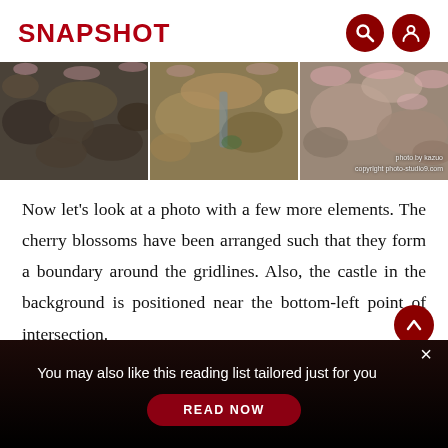SNAPSHOT
[Figure (photo): Three side-by-side photos of rocky stone walls with cherry blossoms. The rightmost photo has a watermark: 'photo by kazuo / copyright photo-studio9.com']
Now let's look at a photo with a few more elements. The cherry blossoms have been arranged such that they form a boundary around the gridlines. Also, the castle in the background is positioned near the bottom-left point of intersection.
You may also like this reading list tailored just for you
READ NOW